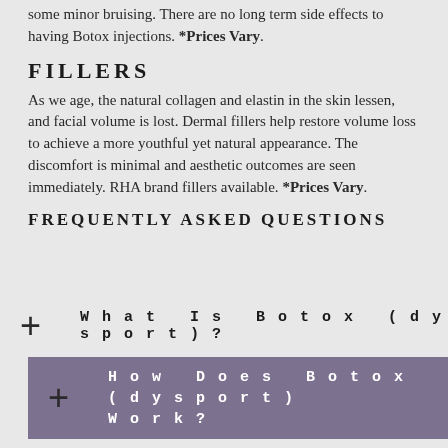some minor bruising. There are no long term side effects to having Botox injections. *Prices Vary.
FILLERS
As we age, the natural collagen and elastin in the skin lessen, and facial volume is lost. Dermal fillers help restore volume loss to achieve a more youthful yet natural appearance. The discomfort is minimal and aesthetic outcomes are seen immediately. RHA brand fillers available. *Prices Vary.
FREQUENTLY ASKED QUESTIONS
What Is Botox (dysport)?
How Does Botox (dysport) Work?